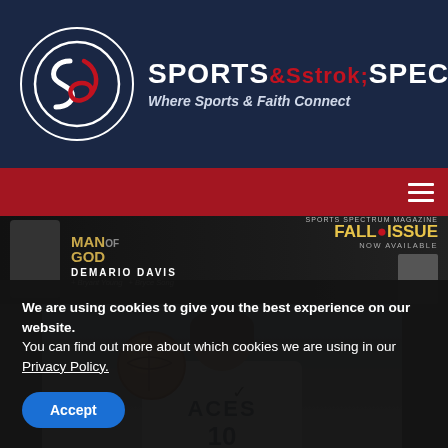[Figure (logo): Sports Spectrum logo with circular icon and text 'SPORTS SPECTRUM - Where Sports & Faith Connect' on dark navy background]
[Figure (screenshot): Sports Spectrum website screenshot showing navigation bar in red, a banner with 'Man of God', 'Demario Davis', 'Fall Issue Now Available', and a WNBA basketball player in Aces #10 jersey holding a ball]
We are using cookies to give you the best experience on our website.
You can find out more about which cookies we are using in our Privacy Policy.
Accept